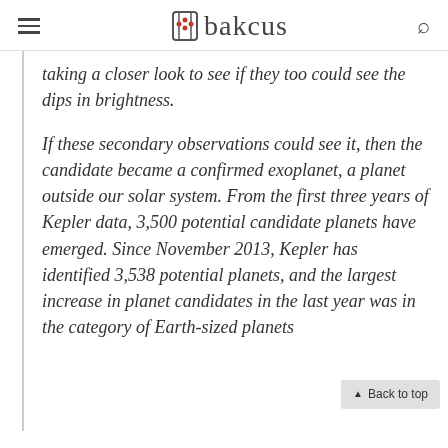Abakcus
taking a closer look to see if they too could see the dips in brightness.
If these secondary observations could see it, then the candidate became a confirmed exoplanet, a planet outside our solar system. From the first three years of Kepler data, 3,500 potential candidate planets have emerged. Since November 2013, Kepler has identified 3,538 potential planets, and the largest increase in planet candidates in the last year was in the category of Earth-sized planets